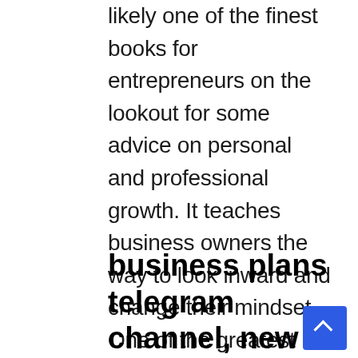likely one of the finest books for entrepreneurs on the lookout for some advice on personal and professional growth. It teaches business owners the way to look inward and change their mindset. One of the greatest takeaways from the book is learning how one can set a aim and hit it. Good enterprise plans assist a company determine the viability of its place out there and may also help the enterprise develop better methods for differentiating itself from its opponents.
business plans telegram channel, new business model 2020, the lean startup shopee